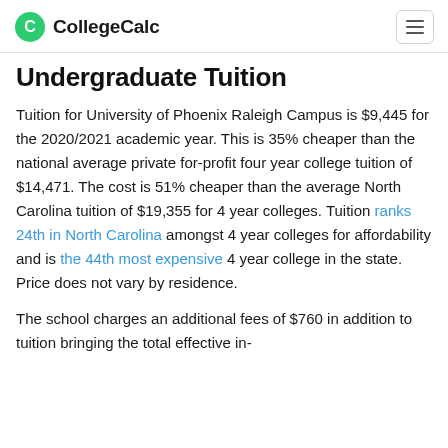CollegeCalc
Undergraduate Tuition
Tuition for University of Phoenix Raleigh Campus is $9,445 for the 2020/2021 academic year. This is 35% cheaper than the national average private for-profit four year college tuition of $14,471. The cost is 51% cheaper than the average North Carolina tuition of $19,355 for 4 year colleges. Tuition ranks 24th in North Carolina amongst 4 year colleges for affordability and is the 44th most expensive 4 year college in the state. Price does not vary by residence.
The school charges an additional fees of $760 in addition to tuition bringing the total effective in-